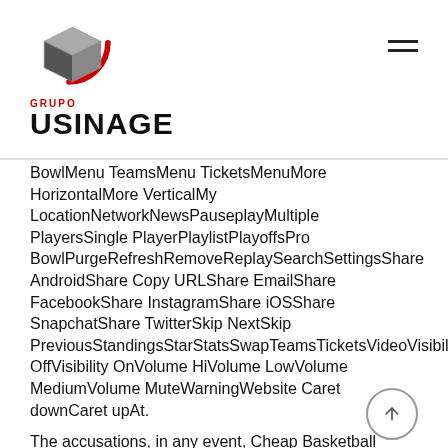Grupo Usinage logo and navigation
BowlMenu TeamsMenu TicketsMenuMore HorizontalMore VerticalMy LocationNetworkNewsPauseplayMultiple PlayersSingle PlayerPlaylistPlayoffsPro BowlPurgeRefreshRemoveReplaySearchSettingsShare AndroidShare Copy URLShare EmailShare FacebookShare InstagramShare iOSShare SnapchatShare TwitterSkip NextSkip PreviousStandingsStarStatsSwapTeamsTicketsVideoVisibility OffVisibility OnVolume HiVolume LowVolume MediumVolume MuteWarningWebsite Caret downCaret upAt.
The accusations, in any event, Cheap Basketball Jerseys launch the culture of the league into a wormhole in which there is an ever-shrinking gap between who runs the NBA and who bitches about